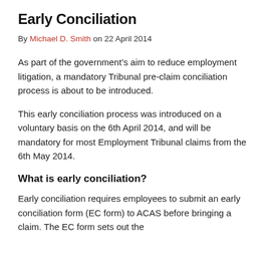Early Conciliation
By Michael D. Smith on 22 April 2014
As part of the government’s aim to reduce employment litigation, a mandatory Tribunal pre-claim conciliation process is about to be introduced.
This early conciliation process was introduced on a voluntary basis on the 6th April 2014, and will be mandatory for most Employment Tribunal claims from the 6th May 2014.
What is early conciliation?
Early conciliation requires employees to submit an early conciliation form (EC form) to ACAS before bringing a claim. The EC form sets out the